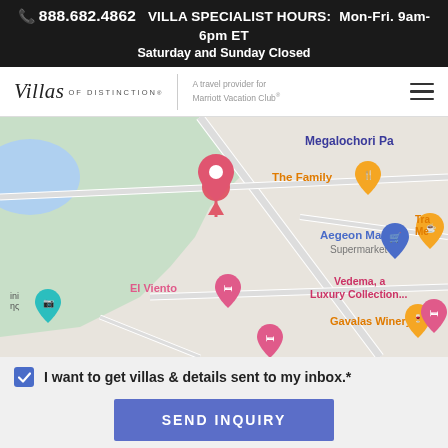📞 888.682.4862  VILLA SPECIALIST HOURS: Mon-Fri. 9am-6pm ET
Saturday and Sunday Closed
[Figure (logo): Villas of Distinction logo with italic script 'Villas of Distinction' and tagline 'A travel provider for Marriott Vacation Club®', plus hamburger menu icon]
[Figure (map): Google Maps screenshot showing area around Megalochori, Greece with labeled locations: Megalochori Pa, The Family (restaurant pin), Aegeon Market Supermarket (blue shopping pin), El Viento (pink lodging pin), Gavalas Winery (orange pin), Vedema, a Luxury Collection... (pink lodging pin), a red location pin in the center-top area, and other pins partially visible.]
I want to get villas & details sent to my inbox.*
SEND INQUIRY